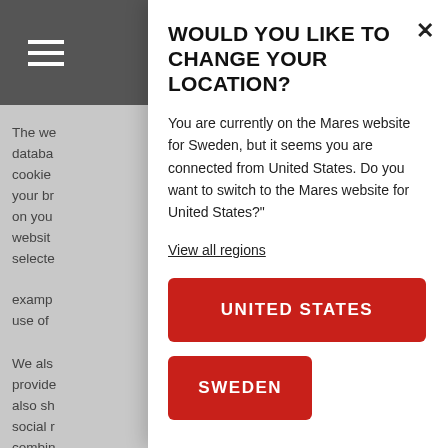[Figure (screenshot): Background webpage content partially visible behind modal, showing hamburger menu icon and truncated body text in gray]
WOULD YOU LIKE TO CHANGE YOUR LOCATION?
You are currently on the Mares website for Sweden, but it seems you are connected from United States. Do you want to switch to the Mares website for United States?"
View all regions
UNITED STATES
SWEDEN